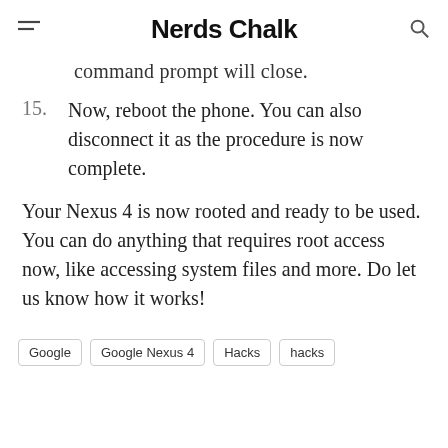Nerds Chalk
command prompt will close.
15.  Now, reboot the phone. You can also disconnect it as the procedure is now complete.
Your Nexus 4 is now rooted and ready to be used. You can do anything that requires root access now, like accessing system files and more. Do let us know how it works!
Google   Google Nexus 4   Hacks   hacks